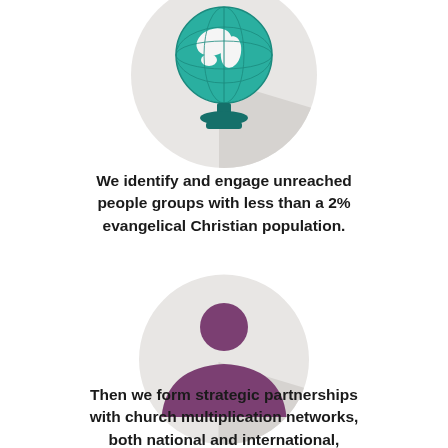[Figure (illustration): Globe icon on a light gray circular background with a diagonal shadow, featuring teal/green globe and dark teal stand]
We identify and engage unreached people groups with less than a 2% evangelical Christian population.
[Figure (illustration): Person/user silhouette icon in purple on a light gray circular background with a diagonal shadow]
Then we form strategic partnerships with church multiplication networks, both national and international,